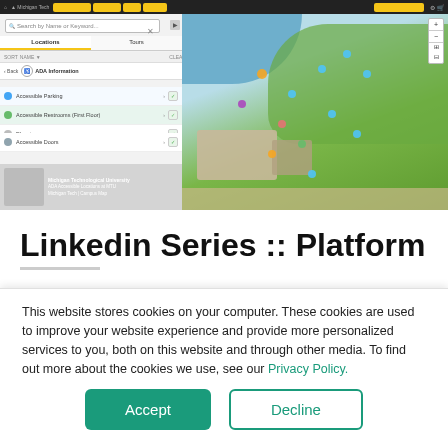[Figure (screenshot): Screenshot of an interactive campus map application showing ADA Information panel on the left with options for Accessible Doors, Accessible Parking, Accessible Restrooms (First Floor), and Elevators. The right panel shows an aerial/illustrated map view of a university campus with water and green areas visible. A navigation bar is at the top.]
Linkedin Series :: Platform
This website stores cookies on your computer. These cookies are used to improve your website experience and provide more personalized services to you, both on this website and through other media. To find out more about the cookies we use, see our Privacy Policy.